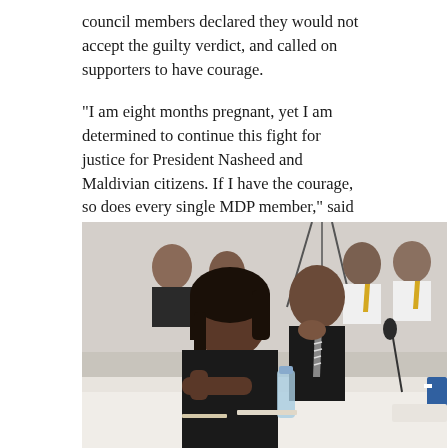council members declared they would not accept the guilty verdict, and called on supporters to have courage.
“I am eight months pregnant, yet I am determined to continue this fight for justice for President Nasheed and Maldivian citizens. If I have the courage, so does every single MDP member,” said Nasheed’s lawyer Hisaan Hussein.
[Figure (photo): A group of people seated at a conference table. A young woman in a black top sits in the foreground looking serious. Behind her is a man in a black shirt and striped tie. Several other people in white shirts with yellow ties are visible in the background. A water bottle and papers are on the table. Microphones are visible.]